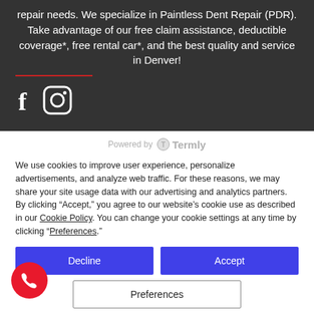repair needs. We specialize in Paintless Dent Repair (PDR). Take advantage of our free claim assistance, deductible coverage*, free rental car*, and the best quality and service in Denver!
[Figure (logo): Facebook and Instagram social media icons in white on dark background]
[Figure (logo): Powered by Termly logo badge]
We use cookies to improve user experience, personalize advertisements, and analyze web traffic. For these reasons, we may share your site usage data with our advertising and analytics partners. By clicking “Accept,” you agree to our website’s cookie use as described in our Cookie Policy. You can change your cookie settings at any time by clicking “Preferences.”
Decline | Accept | Preferences buttons
[Figure (illustration): Red circular phone call button in bottom left corner]